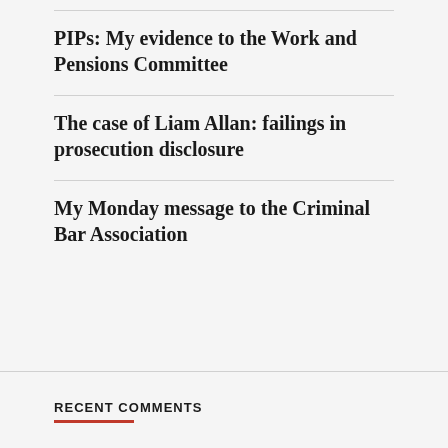PIPs: My evidence to the Work and Pensions Committee
The case of Liam Allan: failings in prosecution disclosure
My Monday message to the Criminal Bar Association
RECENT COMMENTS
Henry Brooke on The Treasury Devil
[Figure (illustration): Circular avatar icon with teal/blue geometric pattern for Henry Brooke]
[Figure (illustration): Circular avatar icon partially visible at bottom for second commenter]